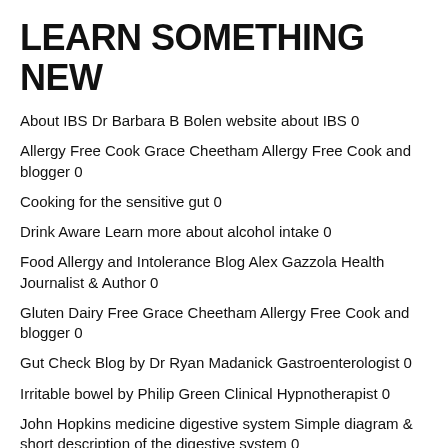LEARN SOMETHING NEW
About IBS Dr Barbara B Bolen website about IBS 0
Allergy Free Cook Grace Cheetham Allergy Free Cook and blogger 0
Cooking for the sensitive gut 0
Drink Aware Learn more about alcohol intake 0
Food Allergy and Intolerance Blog Alex Gazzola Health Journalist & Author 0
Gluten Dairy Free Grace Cheetham Allergy Free Cook and blogger 0
Gut Check Blog by Dr Ryan Madanick Gastroenterologist 0
Irritable bowel by Philip Green Clinical Hypnotherapist 0
John Hopkins medicine digestive system Simple diagram & short description of the digestive system 0
Mind Body Doc Blog by Dr Nick Read Gastroenterologist